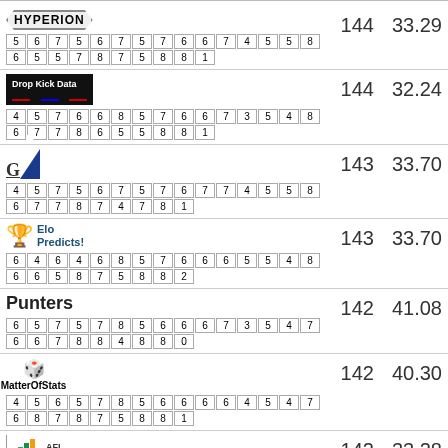| Team | Score | Avg |
| --- | --- | --- |
| HYPERION | 144 | 33.29 |
| Drop Kick Data | 144 | 32.24 |
| GR | 143 | 33.70 |
| Elo Predicts! | 143 | 33.70 |
| Punters | 142 | 41.08 |
| MatterOfStats | 142 | 40.30 |
| AFL Scorigami | 142 | 33.28 |